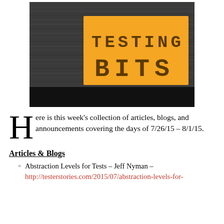[Figure (logo): Testing Bits logo: dark brushed metal background with an orange rectangle containing 'TESTING BITS' text in stamped/typewriter style letters]
Here is this week's collection of articles, blogs, and announcements covering the days of 7/26/15 – 8/1/15.
Articles & Blogs
Abstraction Levels for Tests – Jeff Nyman – http://testerstories.com/2015/07/abstraction-levels-for-